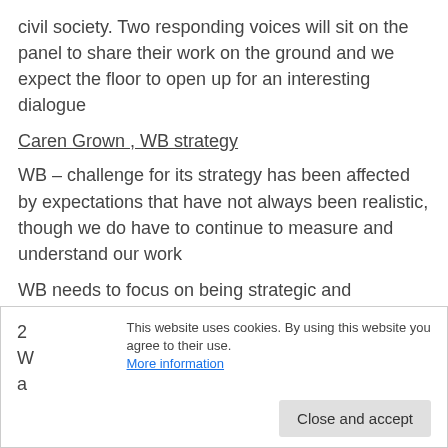civil society. Two responding voices will sit on the panel to share their work on the ground and we expect the floor to open up for an interesting dialogue
Caren Grown , WB strategy
WB – challenge for its strategy has been affected by expectations that have not always been realistic, though we do have to continue to measure and understand our work
WB needs to focus on being strategic and understanding priority areas, so a more strategic approach to mainstreaming
Secondly the WB needs to focus on deep dives to achieve two major outcomes
1) a stronger focus on more and better jobs
2
W
a
This website uses cookies. By using this website you agree to their use. More information